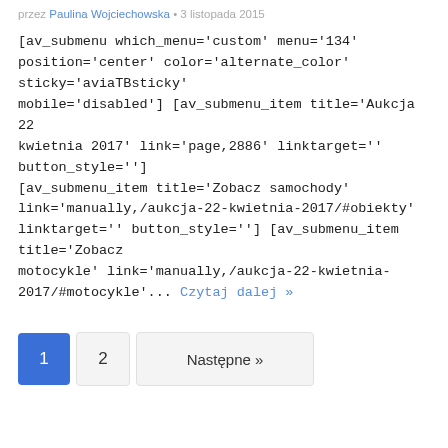przez Paulina Wojciechowska • 3 listopada 2015
[av_submenu which_menu='custom' menu='134' position='center' color='alternate_color' sticky='aviaTBsticky' mobile='disabled'] [av_submenu_item title='Aukcja 22 kwietnia 2017' link='page,2886' linktarget='' button_style=''] [av_submenu_item title='Zobacz samochody' link='manually,/aukcja-22-kwietnia-2017/#obiekty' linktarget='' button_style=''] [av_submenu_item title='Zobacz motocykle' link='manually,/aukcja-22-kwietnia-2017/#motocykle'... Czytaj dalej »
1
2
Następne »